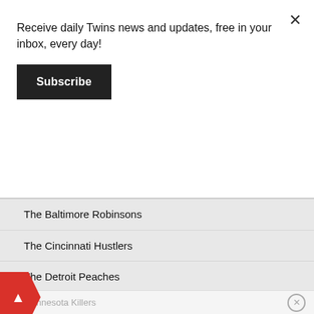Receive daily Twins news and updates, free in your inbox, every day!
Subscribe
The Baltimore Robinsons
The Cincinnati Hustlers
The Detroit Peaches
The Seattle Juniors (or Units, or Kings)
The Washington Big Trains
The Boston Splinters (or Big Daddies)
The Minnesota Killers